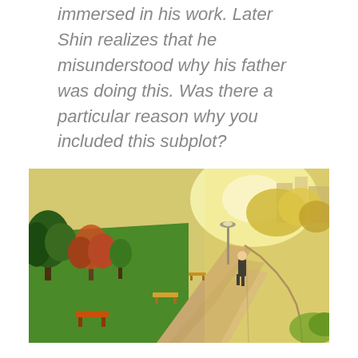immersed in his work. Later Shin realizes that he misunderstood why his father was doing this. Was there a particular reason why you included this subplot?
[Figure (illustration): Anime scene showing a person walking alone on a curved park pathway, surrounded by green and autumn-colored trees, benches along the path, golden sunlight on the right side, and urban buildings visible in the background.]
One thing related to that is a lot of the team working on the film were fathers, so